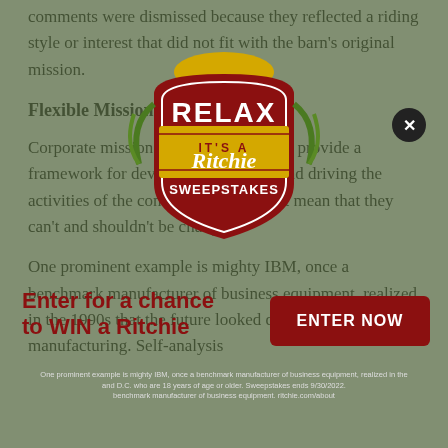comments were dismissed because they reflected a riding style or interest that did not fit with the barn's original mission.
Flexible Missions
Corporate mission statements intend to provide a framework for developing strategies and driving the activities of the company. That doesn't mean that they can't and shouldn't be changed.
One prominent example is mighty IBM, once a benchmark manufacturer of business equipment, realized in the 1990s that the future looked dim for mainframe manufacturing. Self-analysis
[Figure (other): Advertisement overlay: 'RELAX IT'S A Ritchie SWEEPSTAKES' badge logo with close button, 'Enter for a chance to WIN a Ritchie' text, 'ENTER NOW' button, and legal text about sweepstakes ending 9/30/2022.]